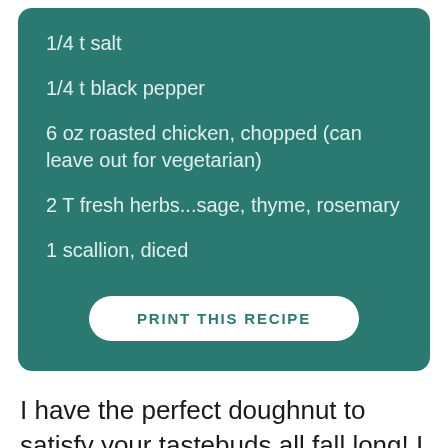1/4 t salt
1/4 t black pepper
6 oz roasted chicken, chopped (can leave out for vegetarian)
2 T fresh herbs...sage, thyme, rosemary
1 scallion, diced
PRINT THIS RECIPE
I have the perfect doughnut to satisfy your tastebuds all fall long! I love these Chicken Thyme Doughnuts because they